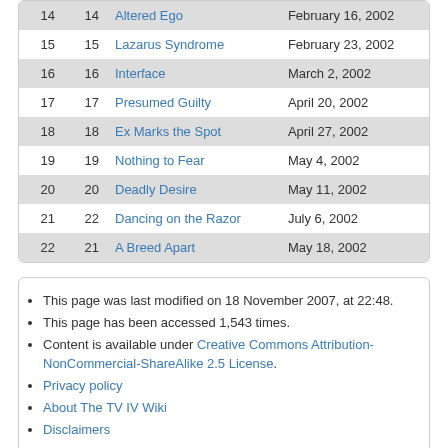| # | # | Title | Air Date |
| --- | --- | --- | --- |
| 14 | 14 | Altered Ego | February 16, 2002 |
| 15 | 15 | Lazarus Syndrome | February 23, 2002 |
| 16 | 16 | Interface | March 2, 2002 |
| 17 | 17 | Presumed Guilty | April 20, 2002 |
| 18 | 18 | Ex Marks the Spot | April 27, 2002 |
| 19 | 19 | Nothing to Fear | May 4, 2002 |
| 20 | 20 | Deadly Desire | May 11, 2002 |
| 21 | 22 | Dancing on the Razor | July 6, 2002 |
| 22 | 21 | A Breed Apart | May 18, 2002 |
This page was last modified on 18 November 2007, at 22:48.
This page has been accessed 1,543 times.
Content is available under Creative Commons Attribution-NonCommercial-ShareAlike 2.5 License.
Privacy policy
About The TV IV Wiki
Disclaimers